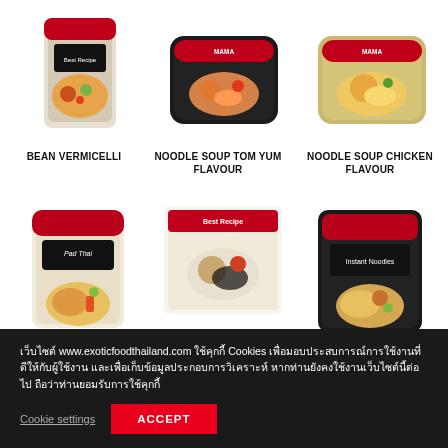[Figure (photo): Product image: Bean Vermicelli package]
BEAN VERMICELLI
[Figure (photo): Product image: Noodle Soup Tom Yum Flavour package]
NOODLE SOUP TOM YUM FLAVOUR
[Figure (photo): Product image: Noodle Soup Chicken Flavour package]
NOODLE SOUP CHICKEN FLAVOUR
[Figure (photo): Product image: Pad Thai package]
[Figure (photo): Product image: Rice Paper 22 cm package]
RICE PAPER 22 CM
[Figure (photo): Product image: Instant Noodles package]
เว็บไซต์ www.exoticfoodthailand.com ใช้คุกกี้ Cookies เพื่อมอบประสบการณ์การใช้งานที่ดีให้กับผู้ใช้งาน และเพื่อเก็บข้อมูลประกอบการวิเคราะห์ หากท่านยังคงใช้งานเว็บไซต์นี้ต่อไป ถือว่าท่านยอมรับการใช้คุกกี้
Cookie settings
ACCEPT